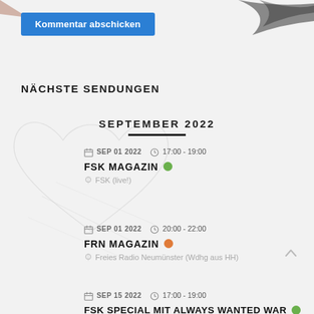[Figure (illustration): Background sketch/watermark with heart and abstract shapes behind page content]
Kommentar abschicken
NÄCHSTE SENDUNGEN
SEPTEMBER 2022
SEP 01 2022  17:00 - 19:00
FSK MAGAZIN
FSK (live!)
SEP 01 2022  20:00 - 22:00
FRN MAGAZIN
Freies Radio Neumünster (Wdhg aus HH)
SEP 15 2022  17:00 - 19:00
FSK SPECIAL MIT ALWAYS WANTED WAR